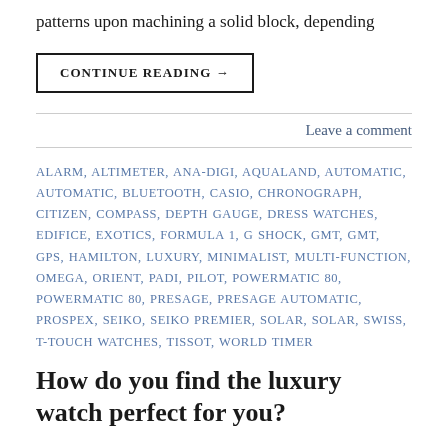patterns upon machining a solid block, depending
CONTINUE READING →
Leave a comment
ALARM, ALTIMETER, ANA-DIGI, AQUALAND, AUTOMATIC, AUTOMATIC, BLUETOOTH, CASIO, CHRONOGRAPH, CITIZEN, COMPASS, DEPTH GAUGE, DRESS WATCHES, EDIFICE, EXOTICS, FORMULA 1, G SHOCK, GMT, GMT, GPS, HAMILTON, LUXURY, MINIMALIST, MULTI-FUNCTION, OMEGA, ORIENT, PADI, PILOT, POWERMATIC 80, POWERMATIC 80, PRESAGE, PRESAGE AUTOMATIC, PROSPEX, SEIKO, SEIKO PREMIER, SOLAR, SOLAR, SWISS, T-TOUCH WATCHES, TISSOT, WORLD TIMER
How do you find the luxury watch perfect for you?